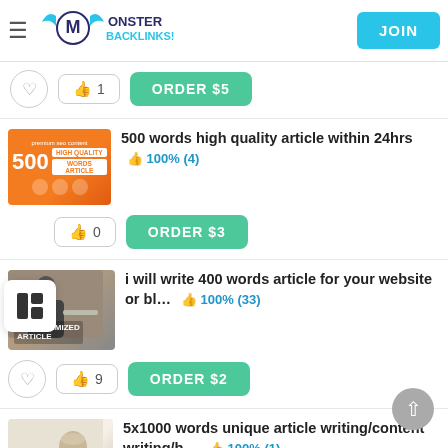Monster Backlinks — JOIN
ORDER $5 — 1 like
[Figure (screenshot): 500 High Quality Words Article thumbnail with orange background]
500 words high quality article within 24hrs  100% (4)
ORDER $3 — 0 likes
[Figure (photo): SEO Optimized Article thumbnail with person at laptop]
i will write 400 words article for your website or bl…  100% (33)
ORDER $2 — 9 likes
[Figure (photo): Writing/coffee thumbnail for 5x1000 words unique article]
5x1000 words unique article writing/content writing/b…  100% (1)
ORDER $25 — 0 likes